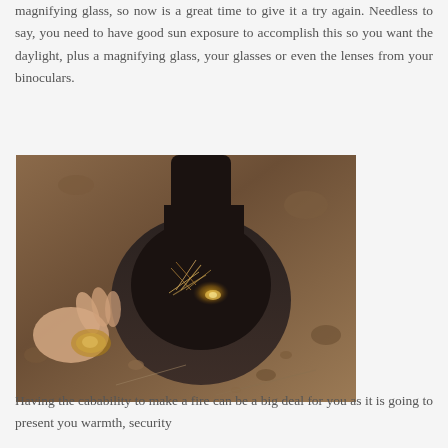magnifying glass, so now is a great time to give it a try again. Needless to say, you need to have good sun exposure to accomplish this so you want the daylight, plus a magnifying glass, your glasses or even the lenses from your binoculars.
[Figure (photo): A person's hand holding a lens or glass object near a small pile of tinder on dry, rocky dirt ground, apparently attempting to start a fire using the lens to focus sunlight.]
Having the cabability to make a fire can be a big deal for you as it is going to present you warmth, security